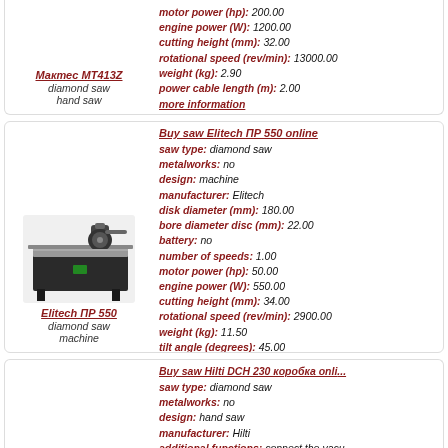Мактес МТ413Z — diamond saw, hand saw
motor power (hp): 200.00
engine power (W): 1200.00
cutting height (mm): 32.00
rotational speed (rev/min): 13000.00
weight (kg): 2.90
power cable length (m): 2.00
more information
Buy saw Elitech ПР 550 online
[Figure (photo): Photo of Elitech ПР 550 diamond saw machine, a table-top tile cutting machine in black/silver]
Elitech ПР 550 — diamond saw machine
saw type: diamond saw
metalworks: no
design: machine
manufacturer: Elitech
disk diameter (mm): 180.00
bore diameter disc (mm): 22.00
battery: no
number of speeds: 1.00
motor power (hp): 50.00
engine power (W): 550.00
cutting height (mm): 34.00
rotational speed (rev/min): 2900.00
weight (kg): 11.50
tilt angle (degrees): 45.00
more information
Buy saw Hilti DCH 230 коробка online
saw type: diamond saw
metalworks: no
design: hand saw
manufacturer: Hilti
additional functions: connect the vacu... cleaner